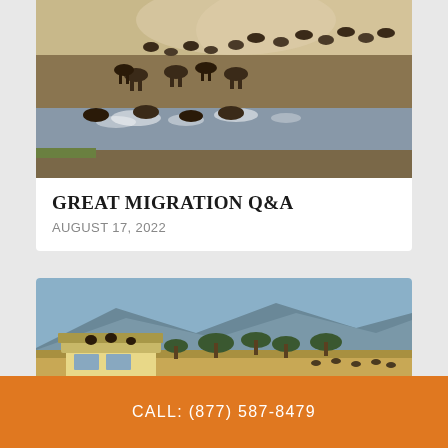[Figure (photo): Wildebeest crossing a river during the Great Migration, animals splashing through water with dust and a large herd visible on the bank]
GREAT MIGRATION Q&A
AUGUST 17, 2022
[Figure (photo): Safari jeep/vehicle on African savanna with hills and acacia trees in the background, wildlife visible in the distance]
CALL: (877) 587-8479